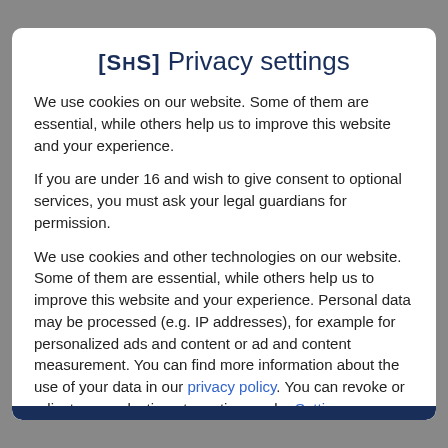[SHS] Privacy settings
We use cookies on our website. Some of them are essential, while others help us to improve this website and your experience.
If you are under 16 and wish to give consent to optional services, you must ask your legal guardians for permission.
We use cookies and other technologies on our website. Some of them are essential, while others help us to improve this website and your experience. Personal data may be processed (e.g. IP addresses), for example for personalized ads and content or ad and content measurement. You can find more information about the use of your data in our privacy policy. You can revoke or adjust your selection at any time under Settings.
Essential
Statistics
External media